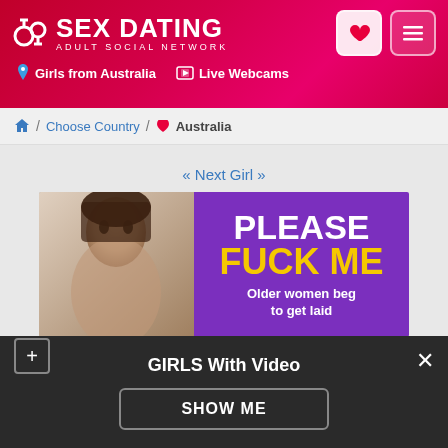SEX DATING ADULT SOCIAL NETWORK
Girls from Australia  Live Webcams
/ Choose Country / Australia
« Next Girl >>
[Figure (photo): Adult dating site advertisement banner with photo on left and purple panel on right reading PLEASE FUCK ME Older women beg to get laid]
Nile. I Wanting Private Sex Verified
[Figure (photo): Profile photo of a young woman, partially visible]
GIRLS With Video
SHOW ME